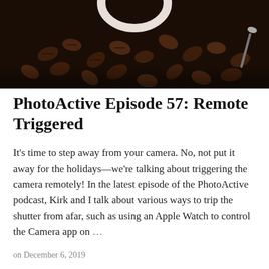[Figure (photo): Dark overhead photo of roasted coffee beans with a white ceramic coffee cup handle visible at the top, and a spoon visible at the right edge. Dark moody lighting with rich brown tones.]
PhotoActive Episode 57: Remote Triggered
It's time to step away from your camera. No, not put it away for the holidays—we're talking about triggering the camera remotely! In the latest episode of the PhotoActive podcast, Kirk and I talk about various ways to trip the shutter from afar, such as using an Apple Watch to control the Camera app on …
on December 6, 2019